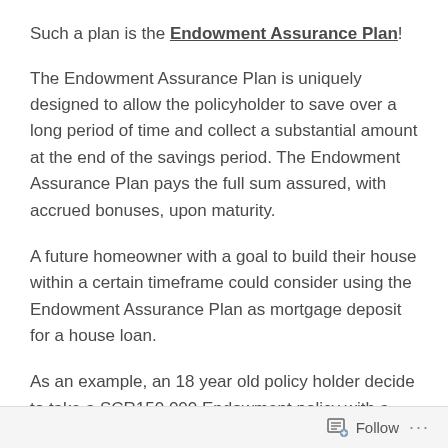Such a plan is the Endowment Assurance Plan!
The Endowment Assurance Plan is uniquely designed to allow the policyholder to save over a long period of time and collect a substantial amount at the end of the savings period. The Endowment Assurance Plan pays the full sum assured, with accrued bonuses, upon maturity.
A future homeowner with a goal to build their house within a certain timeframe could consider using the Endowment Assurance Plan as mortgage deposit for a house loan.
As an example, an 18 year old policy holder decide to take a SCR150,000 Endowment policy with a term of 10years, the policy holder's monthly premium would only be
Follow ...